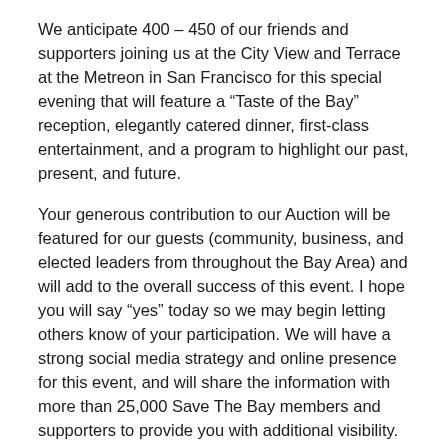We anticipate 400 – 450 of our friends and supporters joining us at the City View and Terrace at the Metreon in San Francisco for this special evening that will feature a “Taste of the Bay” reception, elegantly catered dinner, first-class entertainment, and a program to highlight our past, present, and future.
Your generous contribution to our Auction will be featured for our guests (community, business, and elected leaders from throughout the Bay Area) and will add to the overall success of this event. I hope you will say “yes” today so we may begin letting others know of your participation. We will have a strong social media strategy and online presence for this event, and will share the information with more than 25,000 Save The Bay members and supporters to provide you with additional visibility.